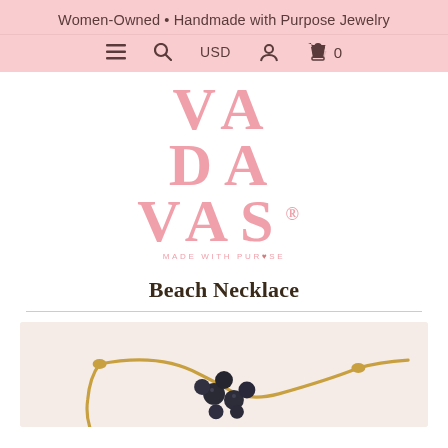Women-Owned • Handmade with Purpose Jewelry
[Figure (logo): VADAVAS logo in pink serif font with tagline MADE WITH PURPOSE]
Beach Necklace
[Figure (photo): Photo of a beach necklace with gold cord and dark beads on a light pink/cream background]